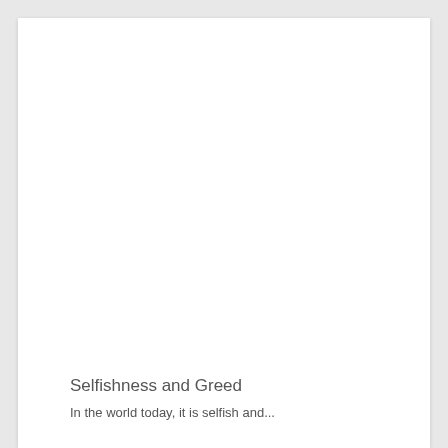Selfishness and Greed
In the world today, it is selfish and...